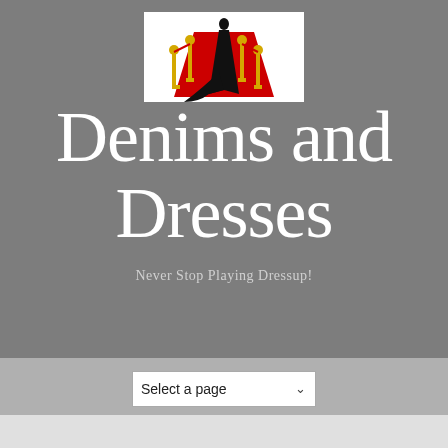[Figure (logo): Logo image of a woman in a black gown on a red carpet with gold stanchions and red rope barriers]
Denims and Dresses
Never Stop Playing Dressup!
Select a page